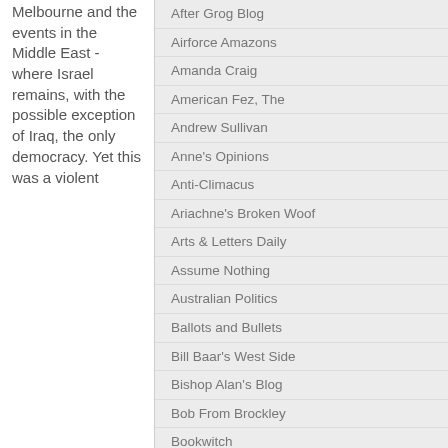Melbourne and the events in the Middle East - where Israel remains, with the possible exception of Iraq, the only democracy. Yet this was a violent
After Grog Blog
Airforce Amazons
Amanda Craig
American Fez, The
Andrew Sullivan
Anne's Opinions
Anti-Climacus
Ariachne's Broken Woof
Arts & Letters Daily
Assume Nothing
Australian Politics
Ballots and Bullets
Bill Baar's West Side
Bishop Alan's Blog
Bob From Brockley
Bookwitch
Brian Micklethwait
Bridges and Tangents